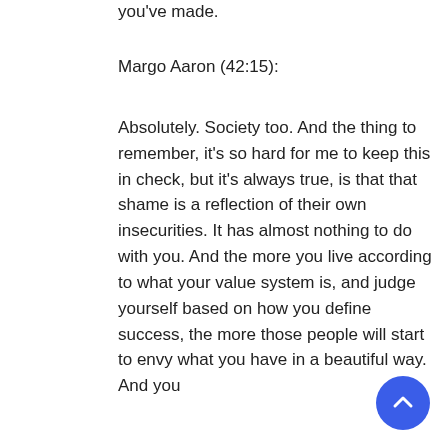you've made.
Margo Aaron (42:15):
Absolutely. Society too. And the thing to remember, it's so hard for me to keep this in check, but it's always true, is that that shame is a reflection of their own insecurities. It has almost nothing to do with you. And the more you live according to what your value system is, and judge yourself based on how you define success, the more those people will start to envy what you have in a beautiful way. And you